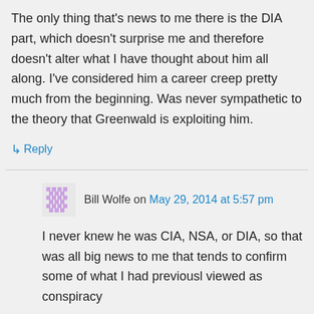The only thing that's news to me there is the DIA part, which doesn't surprise me and therefore doesn't alter what I have thought about him all along. I've considered him a career creep pretty much from the beginning. Was never sympathetic to the theory that Greenwald is exploiting him.
↳ Reply
Bill Wolfe on May 29, 2014 at 5:57 pm
I never knew he was CIA, NSA, or DIA, so that was all big news to me that tends to confirm some of what I had previousl viewed as conspiracy